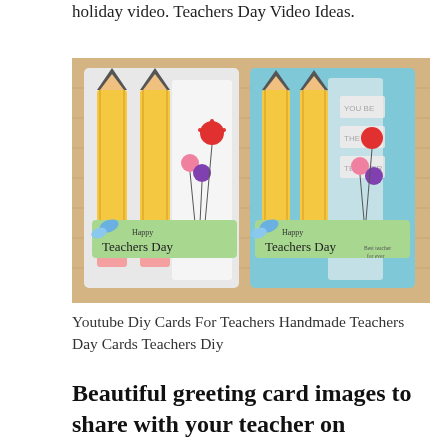holiday video. Teachers Day Video Ideas.
[Figure (photo): Two handmade Teachers Day greeting cards shaped like pencils with colorful paper flowers and a butterfly. Cards have 'Happy Teachers Day' written in cursive on a green banner. One card has tabs reading 'YOU BE THE BEST TEACHER'.]
Youtube Diy Cards For Teachers Handmade Teachers Day Cards Teachers Diy
Beautiful greeting card images to share with your teacher on